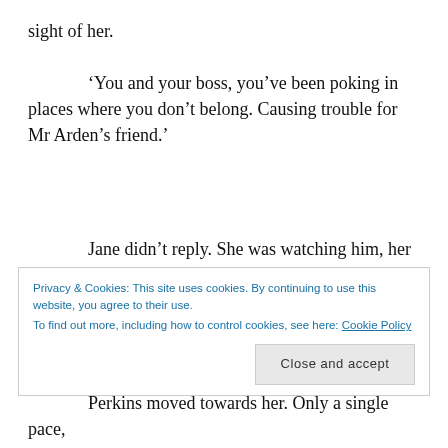sight of her.
‘You and your boss, you’ve been poking in places where you don’t belong. Causing trouble for Mr Arden’s friend.’
Jane didn’t reply. She was watching him, her mind racing over the advice Dodson the crippled soldier had given her. A dirty fighter, brutal, with years of experience. If he won, he’d leave her for dead without a qualm.
Privacy & Cookies: This site uses cookies. By continuing to use this website, you agree to their use.
To find out more, including how to control cookies, see here: Cookie Policy
Close and accept
Perkins moved towards her. Only a single pace,